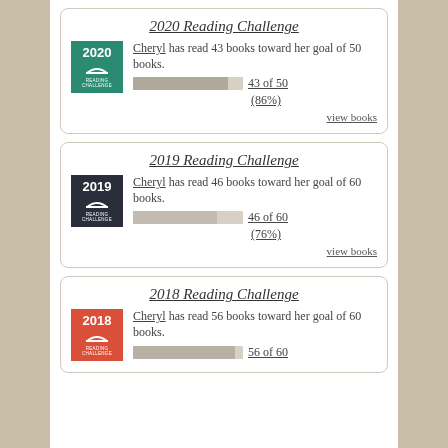2020 Reading Challenge
Cheryl has read 43 books toward her goal of 50 books.
[Figure (infographic): Progress bar showing 86% completion (43 of 50 books). 2020 Reading Challenge badge in teal.]
43 of 50 (86%)
view books
2019 Reading Challenge
Cheryl has read 46 books toward her goal of 60 books.
[Figure (infographic): Progress bar showing 76% completion (46 of 60 books). 2019 Reading Challenge badge in dark navy.]
46 of 60 (76%)
view books
2018 Reading Challenge
Cheryl has read 56 books toward her goal of 60 books.
[Figure (infographic): Progress bar showing partial completion. 2018 Reading Challenge badge in red/orange.]
56 of 60